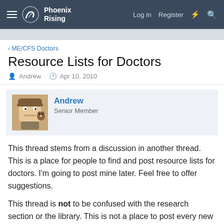Phoenix Rising — Log in  Register
< ME/CFS Doctors
Resource Lists for Doctors
Andrew · Apr 10, 2010
Andrew
Senior Member
This thread stems from a discussion in another thread. This is a place for people to find and post resource lists for doctors. I'm going to post mine later. Feel free to offer suggestions.
This thread is not to be confused with the research section or the library. This is not a place to post every new study you find. It is a for complete resource lists that can be printed or emailed to doctors and suggestions for changes or improvement.